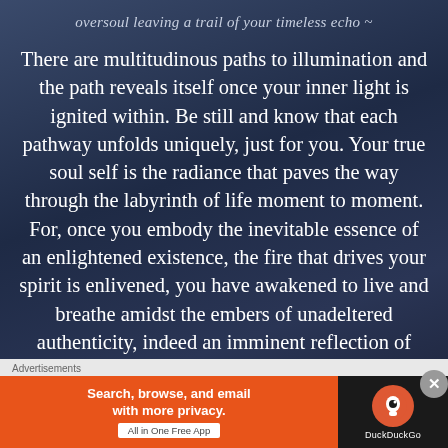oversoul leaving a trail of your timeless echo ~
There are multitudinous paths to illumination and the path reveals itself once your inner light is ignited within. Be still and know that each pathway unfolds uniquely, just for you. Your true soul self is the radiance that paves the way through the labyrinth of life moment to moment. For, once you embody the inevitable essence of an enlightened existence, the fire that drives your spirit is enlivened, you have awakened to live and breathe amidst the embers of unadeltered authenticity, indeed an imminent reflection of divinity. You and the
[Figure (screenshot): DuckDuckGo advertisement banner: orange section with text 'Search, browse, and email with more privacy. All in One Free App', dark section with DuckDuckGo logo and name.]